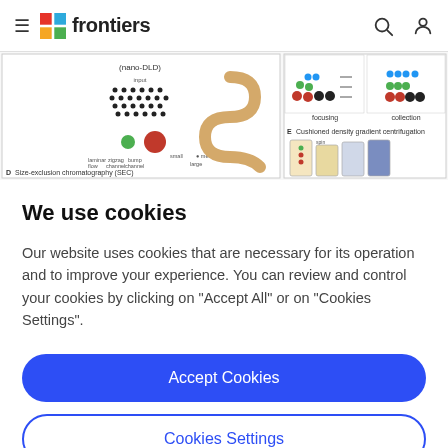frontiers
[Figure (screenshot): Partial screenshot of a scientific figure showing nano-DLD device diagram (panel D, Size-exclusion chromatography SEC) on left, and microfluidic focusing/collection and cushioned density gradient centrifugation panels on right]
We use cookies
Our website uses cookies that are necessary for its operation and to improve your experience. You can review and control your cookies by clicking on "Accept All" or on "Cookies Settings".
Accept Cookies
Cookies Settings